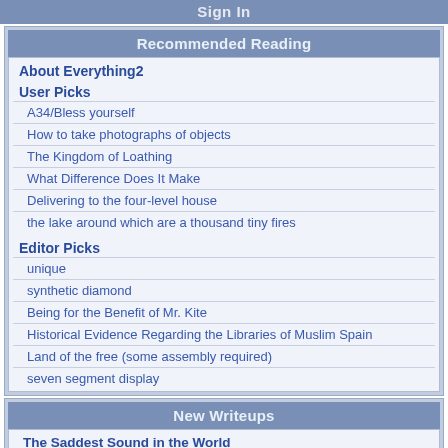Sign In
Recommended Reading
About Everything2
User Picks
A34/Bless yourself
How to take photographs of objects
The Kingdom of Loathing
What Difference Does It Make
Delivering to the four-level house
the lake around which are a thousand tiny fires
Editor Picks
unique
synthetic diamond
Being for the Benefit of Mr. Kite
Historical Evidence Regarding the Libraries of Muslim Spain
Land of the free (some assembly required)
seven segment display
New Writeups
The Saddest Sound in the World (poetry) by lostcauser
How to take photographs of objects (how-to) by etouffee